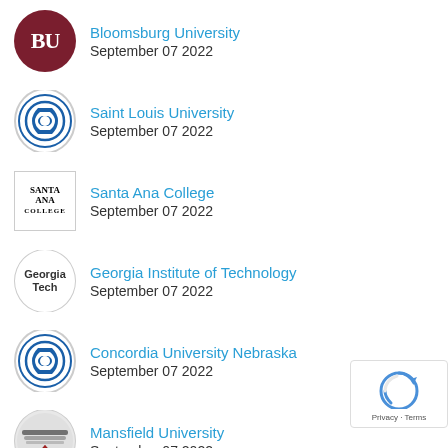Bloomsburg University
September 07 2022
Saint Louis University
September 07 2022
Santa Ana College
September 07 2022
Georgia Institute of Technology
September 07 2022
Concordia University Nebraska
September 07 2022
Mansfield University
September 07 2022
University of North Georgia
September 07 2022